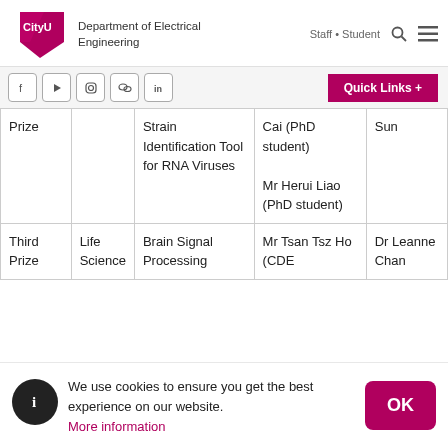CityU Department of Electrical Engineering | Staff • Student
[Figure (logo): CityU logo with magenta diamond shape]
Department of Electrical Engineering
Staff • Student
| Prize |  | Project | Student | Supervisor |
| --- | --- | --- | --- | --- |
| Prize |  | Strain Identification Tool for RNA Viruses | Cai (PhD student)
Mr Herui Liao (PhD student) | Sun |
| Third Prize | Life Science | Brain Signal Processing | Mr Tsan Tsz Ho (CDE | Dr Leanne Chan |
We use cookies to ensure you get the best experience on our website.
More information
OK